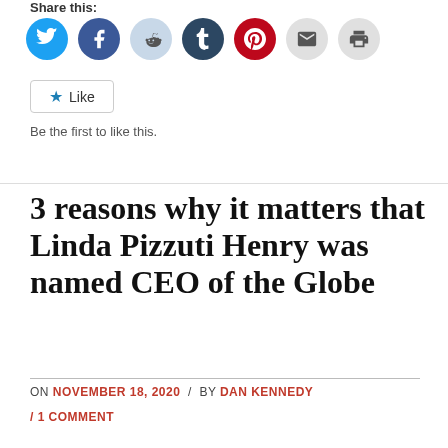Share this:
[Figure (infographic): Social sharing icons: Twitter (blue circle), Facebook (blue circle), Reddit (light blue circle), Tumblr (dark navy circle), Pinterest (red circle), Email (light gray circle), Print (light gray circle)]
[Figure (infographic): Like button widget with a star icon and 'Like' text inside a bordered box]
Be the first to like this.
3 reasons why it matters that Linda Pizzuti Henry was named CEO of the Globe
ON NOVEMBER 18, 2020 / BY DAN KENNEDY
/ 1 COMMENT